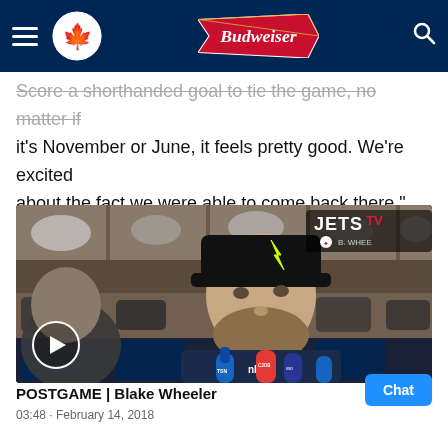Winnipeg Jets | Budweiser
Score a shorthanded goal to tie the game, no matter if it's November or June, it feels pretty good. We're excited about the fact we were able to come back there."
[Figure (screenshot): Video thumbnail of Blake Wheeler in the locker room giving a postgame interview, surrounded by reporters with microphones. Jets TV branding visible in upper right. A play button circle is in the lower left corner.]
POSTGAME | Blake Wheeler
03:48 · February 14, 2018